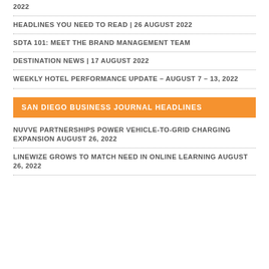2022
HEADLINES YOU NEED TO READ | 26 AUGUST 2022
SDTA 101: MEET THE BRAND MANAGEMENT TEAM
DESTINATION NEWS | 17 AUGUST 2022
WEEKLY HOTEL PERFORMANCE UPDATE – AUGUST 7 – 13, 2022
SAN DIEGO BUSINESS JOURNAL HEADLINES
NUVVE PARTNERSHIPS POWER VEHICLE-TO-GRID CHARGING EXPANSION August 26, 2022
LINEWIZE GROWS TO MATCH NEED IN ONLINE LEARNING August 26, 2022